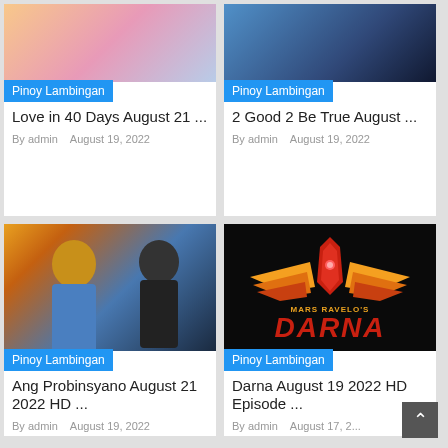[Figure (photo): Love in 40 Days show thumbnail with illustrated characters]
Pinoy Lambingan
Love in 40 Days August 21 ...
By admin    August 19, 2022
[Figure (photo): 2 Good 2 Be True show thumbnail with actors]
Pinoy Lambingan
2 Good 2 Be True August ...
By admin    August 19, 2022
[Figure (photo): Ang Probinsyano show thumbnail with actors]
Pinoy Lambingan
Ang Probinsyano August 21 2022 HD ...
By admin    August 19, 2022
[Figure (logo): Mars Ravelo's Darna logo on black background]
Pinoy Lambingan
Darna August 19 2022 HD Episode ...
By admin    August 17, 2...